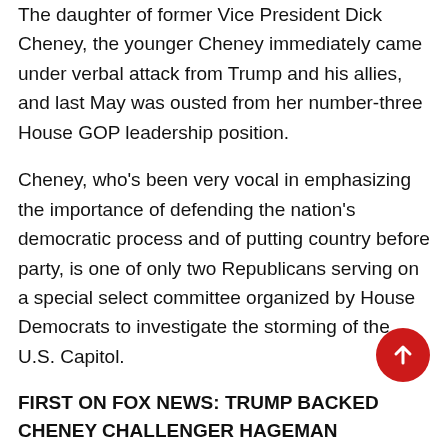The daughter of former Vice President Dick Cheney, the younger Cheney immediately came under verbal attack from Trump and his allies, and last May was ousted from her number-three House GOP leadership position.
Cheney, who's been very vocal in emphasizing the importance of defending the nation's democratic process and of putting country before party, is one of only two Republicans serving on a special select committee organized by House Democrats to investigate the storming of the U.S. Capitol.
FIRST ON FOX NEWS: TRUMP BACKED CHENEY CHALLENGER HAGEMAN ANNOUNCES HER FUNDRAISING HAUL
Trump, stepping up his efforts to oust Cheney from